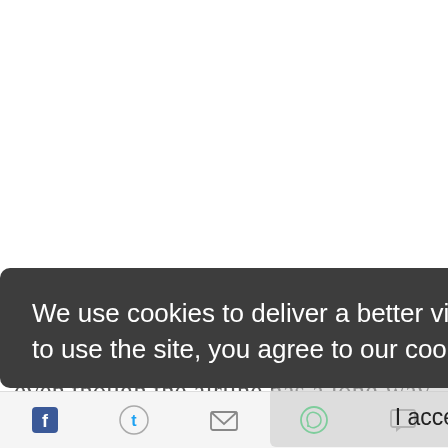We use cookies to deliver a better viewing experience. By continuing to use the site, you agree to our cookie policy. Learn more
I accept
ill represent a 10% increase in flights, even though the airline has a long way to go as they would only be
[Figure (other): Social sharing bar with icons for Facebook, Twitter, Email, WhatsApp, and Comments]